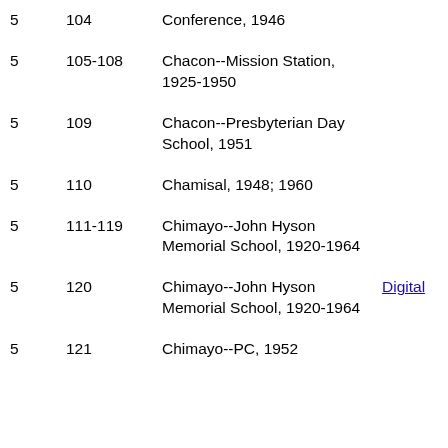| Box | Folder | Description |  |
| --- | --- | --- | --- |
| 5 | 104 | Conference, 1946 |  |
| 5 | 105-108 | Chacon--Mission Station, 1925-1950 |  |
| 5 | 109 | Chacon--Presbyterian Day School, 1951 |  |
| 5 | 110 | Chamisal, 1948; 1960 |  |
| 5 | 111-119 | Chimayo--John Hyson Memorial School, 1920-1964 |  |
| 5 | 120 | Chimayo--John Hyson Memorial School, 1920-1964 | Digital |
| 5 | 121 | Chimayo--PC, 1952 |  |